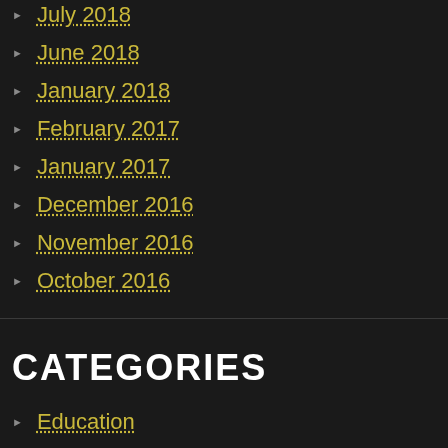July 2018
June 2018
January 2018
February 2017
January 2017
December 2016
November 2016
October 2016
CATEGORIES
Education
lyrics
Song Writing
META